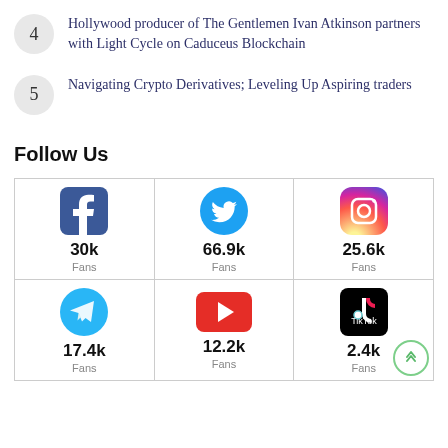4 Hollywood producer of The Gentlemen Ivan Atkinson partners with Light Cycle on Caduceus Blockchain
5 Navigating Crypto Derivatives; Leveling Up Aspiring traders
Follow Us
| Platform | Count | Label | Platform | Count | Label | Platform | Count | Label |
| --- | --- | --- | --- | --- | --- | --- | --- | --- |
| Facebook | 30k | Fans | Twitter | 66.9k | Fans | Instagram | 25.6k | Fans |
| Telegram | 17.4k | Fans | YouTube | 12.2k | Fans | TikTok | 2.4k | Fans |